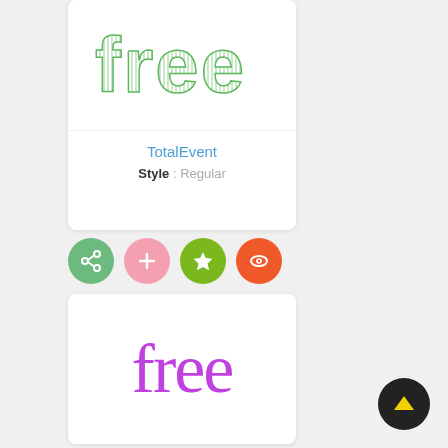[Figure (screenshot): Font preview card showing 'free' text rendered in a green striped/hatched font style (TotalEvent Regular)]
TotalEvent
Style : Regular
[Figure (infographic): Four circular action buttons: green share icon, pink plus icon, green star icon, orange-red eye icon]
[Figure (screenshot): Font preview card showing 'free' text rendered in purple handwritten/brush script style]
[Figure (infographic): Black circular scroll-to-top button with yellow upward arrow]